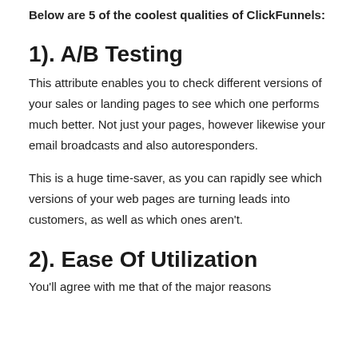Below are 5 of the coolest qualities of ClickFunnels:
1). A/B Testing
This attribute enables you to check different versions of your sales or landing pages to see which one performs much better. Not just your pages, however likewise your email broadcasts and also autoresponders.
This is a huge time-saver, as you can rapidly see which versions of your web pages are turning leads into customers, as well as which ones aren't.
2). Ease Of Utilization
You'll agree with me that of the major reasons